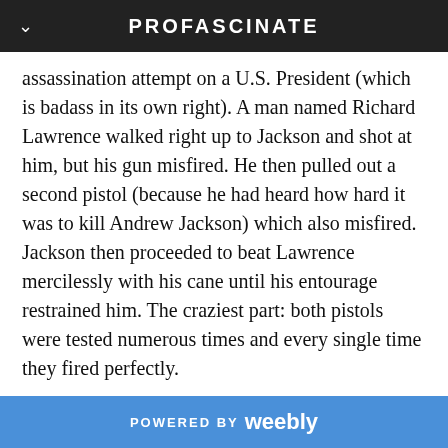PROFASCINATE
assassination attempt on a U.S. President (which is badass in its own right). A man named Richard Lawrence walked right up to Jackson and shot at him, but his gun misfired. He then pulled out a second pistol (because he had heard how hard it was to kill Andrew Jackson) which also misfired. Jackson then proceeded to beat Lawrence mercilessly with his cane until his entourage restrained him. The craziest part: both pistols were tested numerous times and every single time they fired perfectly.
POWERED BY weebly